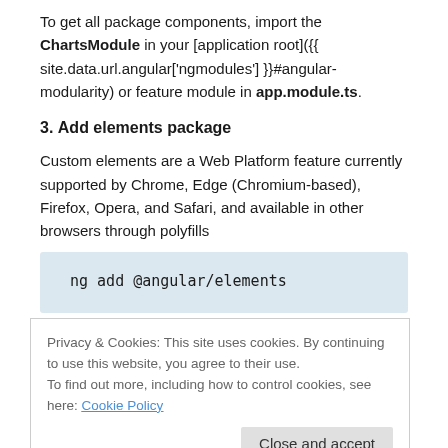To get all package components, import the ChartsModule in your [application root]({{ site.data.url.angular['ngmodules'] }}#angular-modularity) or feature module in app.module.ts.
3. Add elements package
Custom elements are a Web Platform feature currently supported by Chrome, Edge (Chromium-based), Firefox, Opera, and Safari, and available in other browsers through polyfills
ng add @angular/elements
Privacy & Cookies: This site uses cookies. By continuing to use this website, you agree to their use.
To find out more, including how to control cookies, see here: Cookie Policy